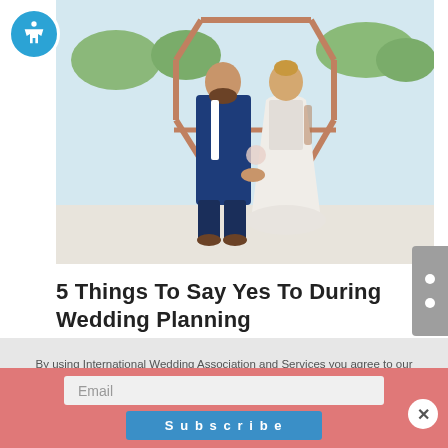[Figure (photo): Wedding couple photo: groom in dark blue suit and bride in white dress holding hands in outdoor sunny setting with hexagonal wooden arch behind them]
5 Things To Say Yes To During Wedding Planning
By using International Wedding Association and Services you agree to our cookies use. We and our partners operate globally and use cookies,
Email
Subscribe